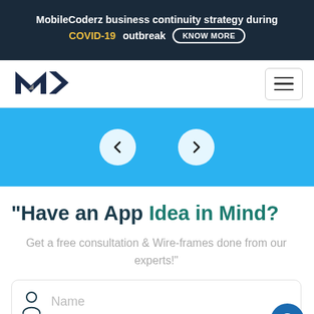MobileCoderz business continuity strategy during COVID-19 outbreak KNOW MORE
[Figure (logo): MobileCoderz MC logo in dark navy blue]
[Figure (screenshot): Blue slider section with left and right arrow navigation buttons]
"Have an App Idea in Mind?
Get a free consultation & Wire-frames done from our experts!"
[Figure (screenshot): Name input form field with person icon]